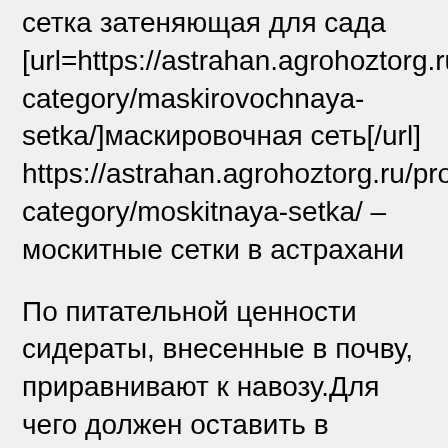сетка затеняющая для сада [url=https://astrahan.agrohoztorg.ru/product-category/maskirovochnaya-setka/]маскировочная сеть[/url] https://astrahan.agrohoztorg.ru/product-category/moskitnaya-setka/ – москитные сетки в астрахани
По питательной ценности сидераты, внесенные в почву, приравнивают к навозу.Для чего должен оставить в бутылках немного воздуха, а крышку закрутить неплотно.Наверное, каждый из тех, который когда-либо занимался выращиванием культурных растений в парниках и теплицах, знает о том, насколько большое значение ради хорошего урожая имеет сорт и свойства материала, применяемого чтобы создания прозрачной пленки.